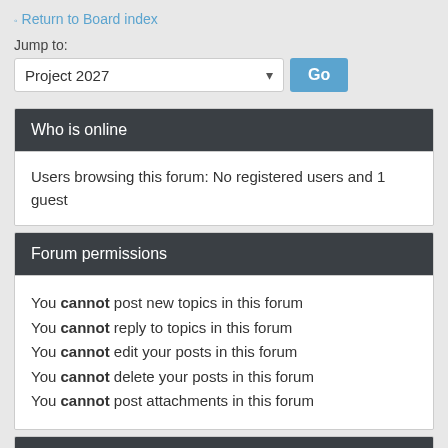Return to Board index
Jump to:
Project 2027
Who is online
Users browsing this forum: No registered users and 1 guest
Forum permissions
You cannot post new topics in this forum
You cannot reply to topics in this forum
You cannot edit your posts in this forum
You cannot delete your posts in this forum
You cannot post attachments in this forum
Login